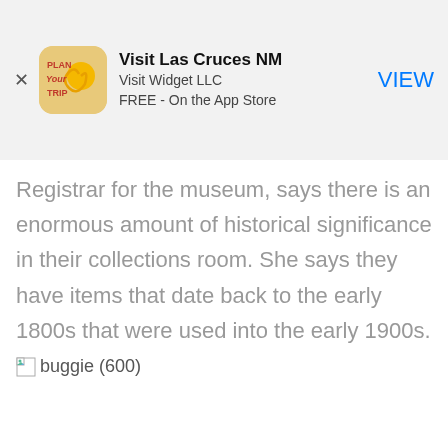[Figure (screenshot): App Store banner ad for 'Visit Las Cruces NM' by Visit Widget LLC, FREE on the App Store, with a VIEW button]
Registrar for the museum, says there is an enormous amount of historical significance in their collections room. She says they have items that date back to the early 1800s that were used into the early 1900s.
[Figure (photo): Broken image placeholder labeled 'buggie (600)']